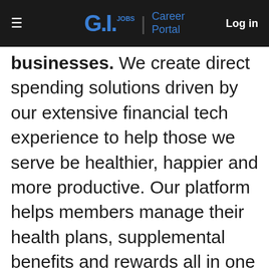G.I. JOBS | Career Portal   Log in
businesses. We create direct spending solutions driven by our extensive financial tech experience to help those we serve be healthier, happier and more productive. Our platform helps members manage their health plans, supplemental benefits and rewards all in one place. You'll have the opportunity to make it easier for consumers to manage their own health by making healthier products more affordable and their purchases streamlined. If you are a driven individual that thrives in fast-